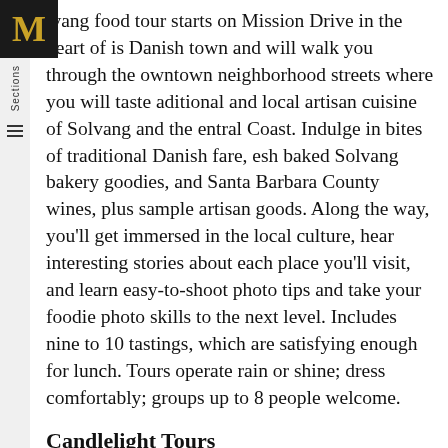lvang food tour starts on Mission Drive in the heart of is Danish town and will walk you through the owntown neighborhood streets where you will taste aditional and local artisan cuisine of Solvang and the entral Coast. Indulge in bites of traditional Danish fare, esh baked Solvang bakery goodies, and Santa Barbara County wines, plus sample artisan goods. Along the way, you'll get immersed in the local culture, hear interesting stories about each place you'll visit, and learn easy-to-shoot photo tips and take your foodie photo skills to the next level. Includes nine to 10 tastings, which are satisfying enough for lunch. Tours operate rain or shine; dress comfortably; groups up to 8 people welcome.
Candlelight Tours
Saturday, November 27 and December 4, 10, 17 and Sunday, December 18 from 5:30 pm to 6:30 pm
Take part in this holiday stroll with a costumed tour guide while holding a candle and listening to Christmas carols